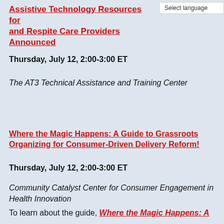Assistive Technology Resources for and Respite Care Providers Announced
Select language
Thursday, July 12, 2:00-3:00 ET
The AT3 Technical Assistance and Training Center
Where the Magic Happens: A Guide to Grassroots Organizing for Consumer-Driven Delivery Reform!
Thursday, July 12, 2:00-3:00 ET
Community Catalyst Center for Consumer Engagement in Health Innovation
To learn about the guide, Where the Magic Happens: A